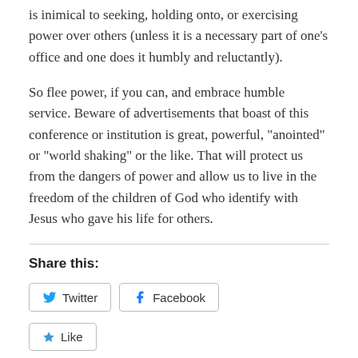is inimical to seeking, holding onto, or exercising power over others (unless it is a necessary part of one's office and one does it humbly and reluctantly).
So flee power, if you can, and embrace humble service. Beware of advertisements that boast of this conference or institution is great, powerful, “anointed” or “world shaking” or the like. That will protect us from the dangers of power and allow us to live in the freedom of the children of God who identify with Jesus who gave his life for others.
Share this:
Twitter   Facebook
Like
Be the first to like this.